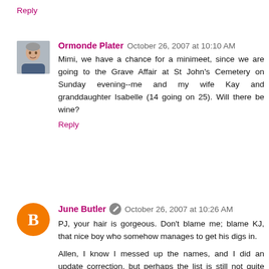Reply
Ormonde Plater  October 26, 2007 at 10:10 AM
Mimi, we have a chance for a minimeet, since we are going to the Grave Affair at St John's Cemetery on Sunday evening--me and my wife Kay and granddaughter Isabelle (14 going on 25). Will there be wine?
Reply
June Butler  October 26, 2007 at 10:26 AM
PJ, your hair is gorgeous. Don't blame me; blame KJ, that nice boy who somehow manages to get his digs in.
Allen, I know I messed up the names, and I did an update correction, but perhaps the list is still not quite correct. I loved meeting you and Liz, and you were both so kind and helpful.
Ormonde, it will be great to meet you and your family in